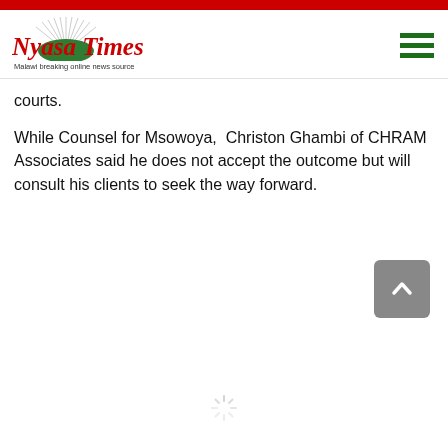Nyasa Times — Malawi breaking online news source
courts.
While Counsel for Msowoya,  Christon Ghambi of CHRAM Associates said he does not accept the outcome but will consult his clients to seek the way forward.